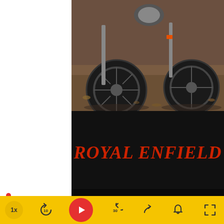[Figure (photo): Motorcycle wheels and lower body of Royal Enfield motorcycles on dirt/gravel ground, partial view from front]
[Figure (logo): Royal Enfield logo: bold red italic serif text on black background reading 'ROYAL ENFIELD']
[Figure (logo): Phoenixion brand banner: 'PHOENIXION' in yellow/white italic bold text and tagline 'BE COOL BE SEEN' on black background, with a media player progress bar and controls bar at bottom including 1x speed, skip-back 10, play, skip-forward 30, share, bell, and fullscreen icons on yellow background]